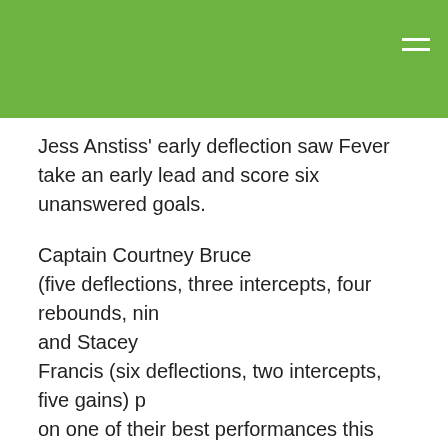Jess Anstiss' early deflection saw Fever take an early lead and score six unanswered goals.
Captain Courtney Bruce (five deflections, three intercepts, four rebounds, nine tips) and Stacey Francis (six deflections, two intercepts, five gains) put on one of their best performances this season as they shut down Lightning's early attempts of scoring during the Rebel Power 5.
Goal defender Francis silenced the parochial Sunshine Coast fans with an intercept which set up Alice Teague-Neeld for a goal. From there Fever ran away with the quarter as Teague-Neeld